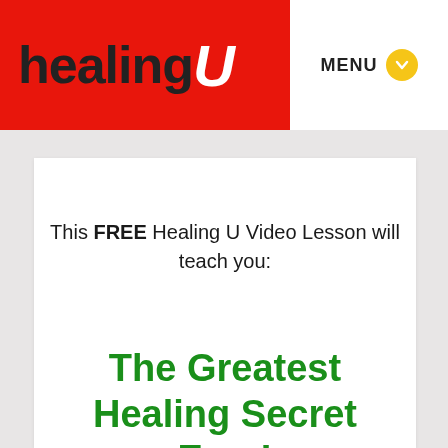healing U
[Figure (logo): Healing U logo with red background, black 'healing' text and white italic 'U']
MENU
This FREE Healing U Video Lesson will teach you:
The Greatest Healing Secret Ever!